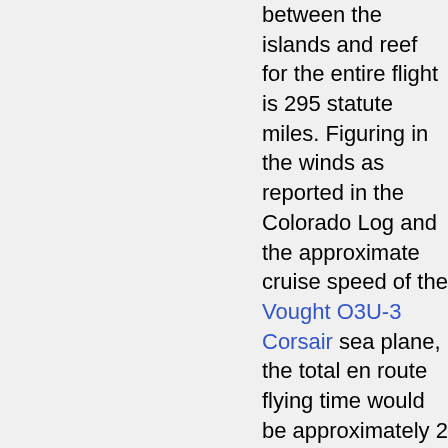between the islands and reef for the entire flight is 295 statute miles. Figuring in the winds as reported in the Colorado Log and the approximate cruise speed of the Vought O3U-3 Corsair sea plane, the total en route flying time would be approximately 2 hours and 10 minutes.
After 3 hours and 34 minutes, Lt Lambrecht and flight returned to the Colorado at 1030 hours which leaves approximately 1 hour and 20 minutes of on station time that was used in the